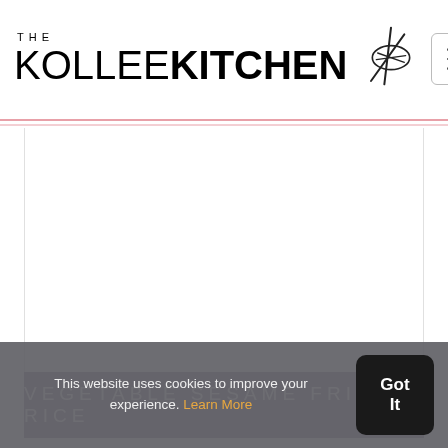THE KOLLEE KITCHEN
[Figure (photo): Food photo of Vegetable Sesame Fried Rice (white/blank area shown as image placeholder)]
VEGETABLE SESAME FRIED RICE
This website uses cookies to improve your experience. Learn More